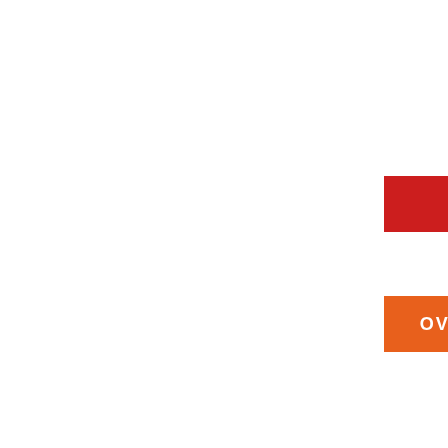SALE
OVERSTOCKED
[Figure (other): Blue rectangle bar at bottom of page]